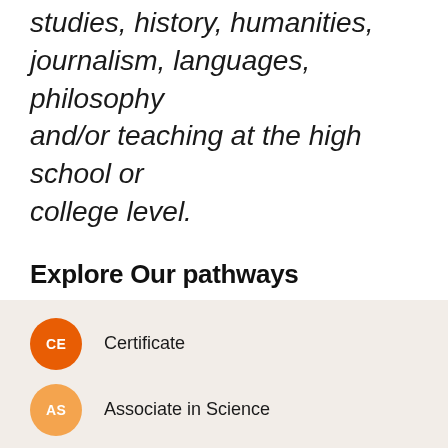studies, history, humanities, journalism, languages, philosophy and/or teaching at the high school or college level.
Explore Our pathways
CE — Certificate
AS — Associate in Science
AA — Associate in Arts
ADT — Associate Degree for Transfer
Online Options Available